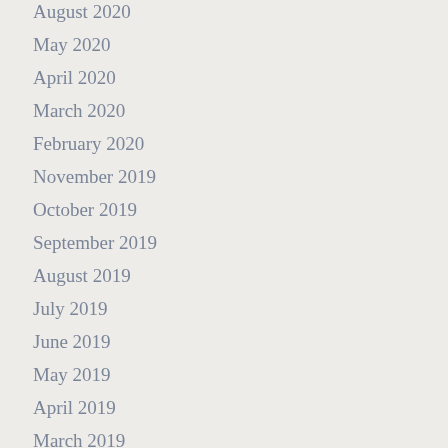August 2020
May 2020
April 2020
March 2020
February 2020
November 2019
October 2019
September 2019
August 2019
July 2019
June 2019
May 2019
April 2019
March 2019